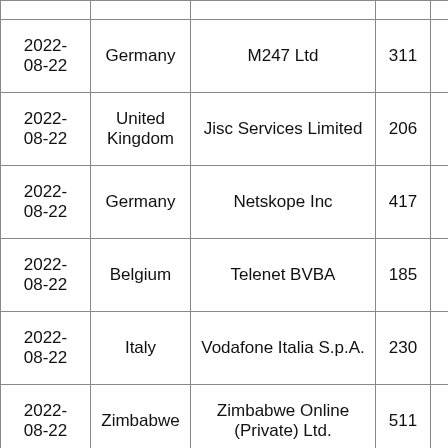| Date | Country | Organization | Count |  |
| --- | --- | --- | --- | --- |
| 2022-08-22 | Germany | M247 Ltd | 311 |  |
| 2022-08-22 | United Kingdom | Jisc Services Limited | 206 |  |
| 2022-08-22 | Germany | Netskope Inc | 417 |  |
| 2022-08-22 | Belgium | Telenet BVBA | 185 |  |
| 2022-08-22 | Italy | Vodafone Italia S.p.A. | 230 |  |
| 2022-08-22 | Zimbabwe | Zimbabwe Online (Private) Ltd. | 511 |  |
| 2022-... |  | Zimbabwe Online... |  |  |